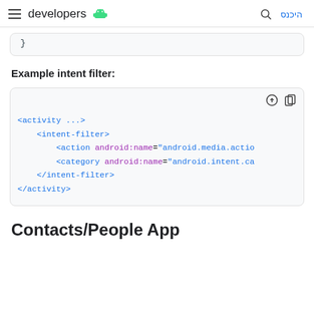developers | היכנס
[Figure (screenshot): Partial code block showing closing brace of a code snippet]
Example intent filter:
[Figure (screenshot): XML code block showing Android intent filter with activity, intent-filter, action android:name='android.media.action...', category android:name='android.intent.ca...', /intent-filter, /activity tags]
Contacts/People App